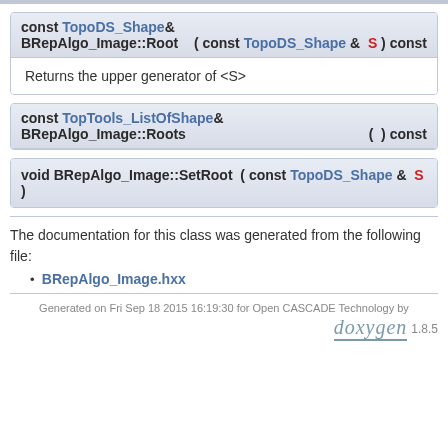const TopoDS_Shape& BRepAlgo_Image::Root ( const TopoDS_Shape & S ) const
Returns the upper generator of <S>
const TopTools_ListOfShape& BRepAlgo_Image::Roots ( ) const
void BRepAlgo_Image::SetRoot ( const TopoDS_Shape & S )
The documentation for this class was generated from the following file:
BRepAlgo_Image.hxx
Generated on Fri Sep 18 2015 16:19:30 for Open CASCADE Technology by doxygen 1.8.5